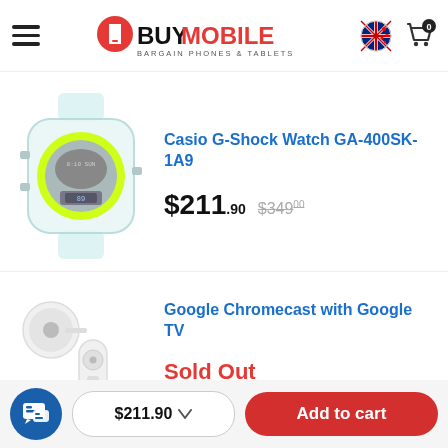BuyMobile — Bargain Phones & Tablets
[Figure (photo): Casio G-Shock Watch GA-400SK-1A9 product photo — transparent/clear watch with yellow-green neon dial]
Casio G-Shock Watch GA-400SK-1A9
$211.90  $349.00 (strikethrough)
[Figure (photo): Google Chromecast with Google TV product photo — white dongle and white remote control]
Google Chromecast with Google TV
Sold Out
$211.90  Add to cart